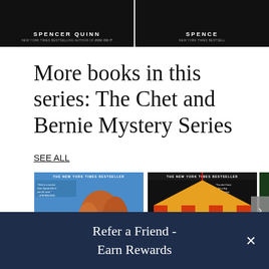[Figure (photo): Top portion showing two book covers side by side, both dark/black backgrounds. Left cover shows author name SPENCER QUINN with subtitle NEW YORK TIMES BESTSELLING AUTHOR OF DOG ON IT. Right cover partially visible shows SPENCE and NEW YORK TIMES BESTSELL.]
More books in this series: The Chet and Bernie Mystery Series
SEE ALL
[Figure (photo): Book cover 1: The New York Times Bestseller - desert landscape with red rocks and blue sky, a dog silhouette visible. Quote from Stephen King visible. Part of the Chet and Bernie Mystery Series.]
[Figure (photo): Book cover 2: The New York Times Bestseller - circus big top tent with orange and yellow stripes, festive lights, red tent base. Quote from Publishers Weekly visible.]
[Figure (photo): Book cover 3: Partially visible, dark green/forest background.]
Refer a Friend - Earn Rewards